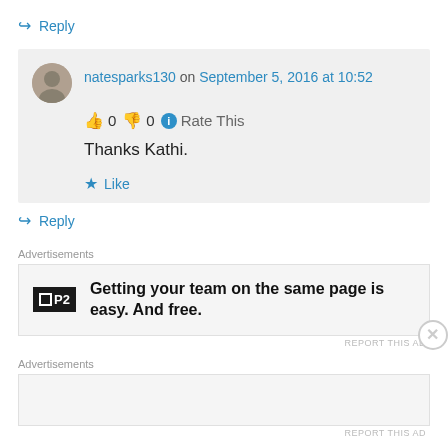↪ Reply
natesparks130 on September 5, 2016 at 10:52
👍 0 👎 0 ℹ Rate This
Thanks Kathi.
★ Like
↪ Reply
Advertisements
[Figure (screenshot): P2 advertisement: Getting your team on the same page is easy. And free.]
REPORT THIS AD
Advertisements